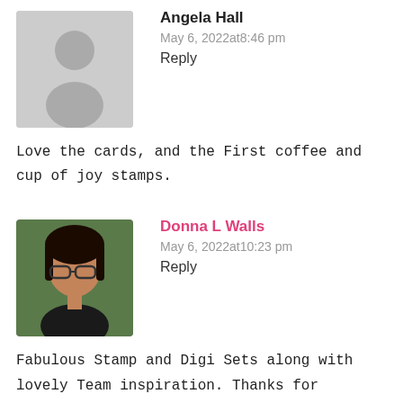[Figure (illustration): Gray placeholder avatar silhouette for user Angela Hall]
Angela Hall
May 6, 2022at8:46 pm
Reply
Love the cards, and the First coffee and cup of joy stamps.
[Figure (photo): Profile photo of Donna L Walls, a woman with dark hair and glasses]
Donna L Walls
May 6, 2022at10:23 pm
Reply
Fabulous Stamp and Digi Sets along with lovely Team inspiration. Thanks for Sponsoring!
[Figure (illustration): Gray placeholder avatar silhouette for user indy]
indy
May 6, 2022at10:29 pm